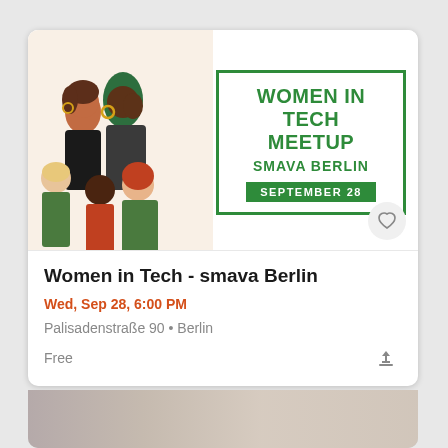[Figure (illustration): Event flyer for Women in Tech Meetup at smava Berlin on September 28, showing illustrated diverse women figures on the left and event details on the right with green border box]
Women in Tech - smava Berlin
Wed, Sep 28, 6:00 PM
Palisadenstraße 90 • Berlin
Free